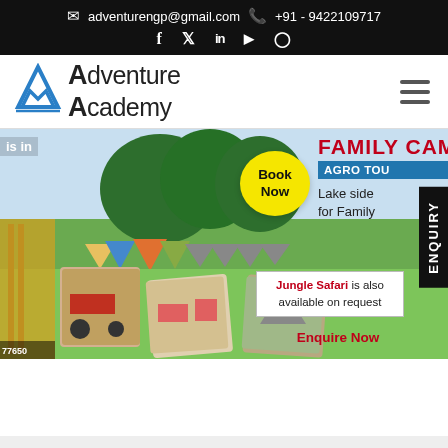adventurengp@gmail.com   +91 - 9422109717
[Figure (logo): Adventure Academy logo with blue mountain/tent icon and text 'Adventure Academy']
[Figure (infographic): Banner image showing family camping with tents on green grass, Agro Tour promotion, Book Now bubble, photos of tent interiors and tractor, ENQUIRY tab, Jungle Safari text, Enquire Now link, FAMILY CAMPING heading, Lake side for Family text]